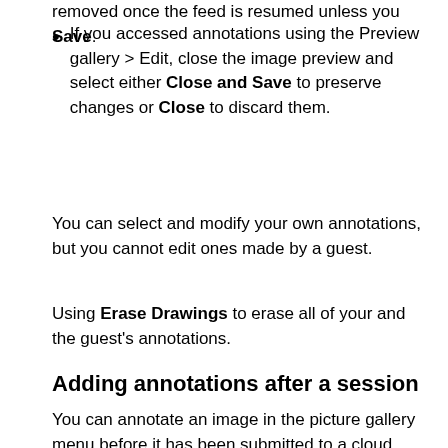removed once the feed is resumed unless you Save.
If you accessed annotations using the Preview gallery > Edit, close the image preview and select either Close and Save to preserve changes or Close to discard them.
You can select and modify your own annotations, but you cannot edit ones made by a guest.
Using Erase Drawings to erase all of your and the guest's annotations.
Adding annotations after a session
You can annotate an image in the picture gallery menu before it has been submitted to a cloud media endpoint.
This option is only available in scenarios that are configured to save images in the Preview gallery and have a cloud media endpoint configured.